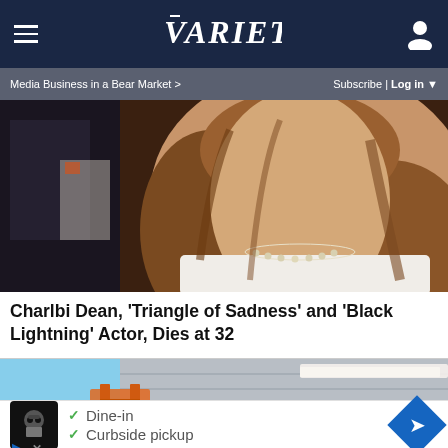Variety
Media Business in a Bear Market >  Subscribe | Log in
[Figure (photo): Close-up photo of a woman with long wavy brown hair wearing a diamond necklace and a white outfit, with another person partially visible in the background]
Charlbi Dean, 'Triangle of Sadness' and 'Black Lightning' Actor, Dies at 32
[Figure (photo): Photo of a person in a red shirt working on the exterior of a building with siding, with a blue sky in the background and orange equipment visible]
[Figure (infographic): Advertisement showing a restaurant icon, checkmarks next to 'Dine-in' and 'Curbside pickup' text, and a blue diamond navigation arrow icon]